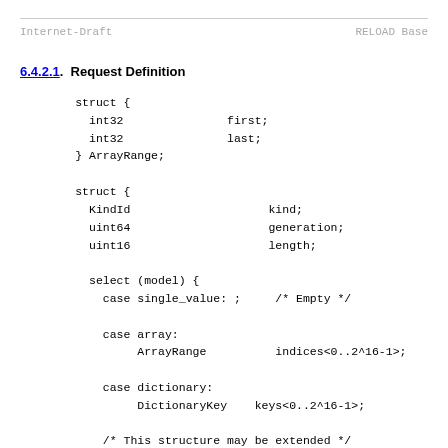Internet-Draft                          RELOAD Base
6.4.2.1.  Request Definition
struct {
  int32               first;
  int32               last;
} ArrayRange;

struct {
  KindId                    kind;
  uint64                    generation;
  uint16                    length;

  select (model) {
    case single_value: ;     /* Empty */

    case array:
         ArrayRange          indices<0..2^16-1>;

    case dictionary:
         DictionaryKey    keys<0..2^16-1>;

    /* This structure may be extended */

  } model_specifier;
} StoredDataSpecifier;